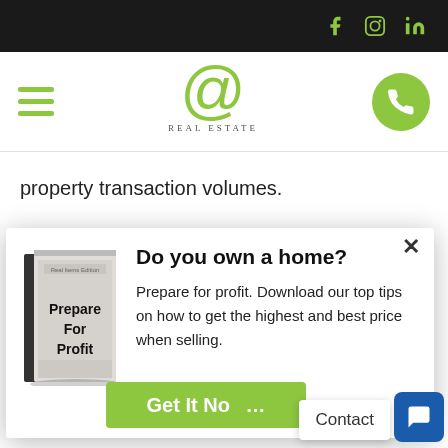Real Estate website header with social icons (Facebook, Instagram, LinkedIn), hamburger menu, Real Estate @ logo, and phone button
property transaction volumes.
Depending on how long the coronavirus outbreak lasts, it
[Figure (screenshot): Modal popup with book image 'Prepare For Profit - Real Items Edition', title 'Do you own a home?', description 'Prepare for profit. Download our top tips on how to get the highest and best price when selling.', green 'Get It Now' button, Contact button, and chat bubble button]
Do you own a home?
Prepare for profit. Download our top tips on how to get the highest and best price when selling.